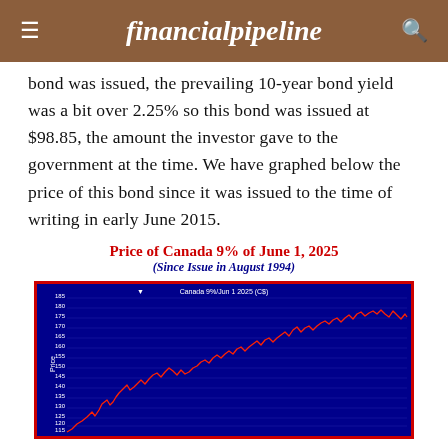financialpipeline
bond was issued, the prevailing 10-year bond yield was a bit over 2.25% so this bond was issued at $98.85, the amount the investor gave to the government at the time. We have graphed below the price of this bond since it was issued to the time of writing in early June 2015.
Price of Canada 9% of June 1, 2025 (Since Issue in August 1994)
[Figure (continuous-plot): Line chart showing the price of Canada 9% of June 1, 2025 bond since its issue in August 1994 to June 2015. The y-axis shows price from approximately 110 to 185, with the line in red showing an overall upward trend from about 98.85 at issue, peaking near 178-180, then declining somewhat. The chart has a dark blue background with white gridlines and axis labels. Title reads 'Canada 9%/Jun 1 2025 (C$)'.]